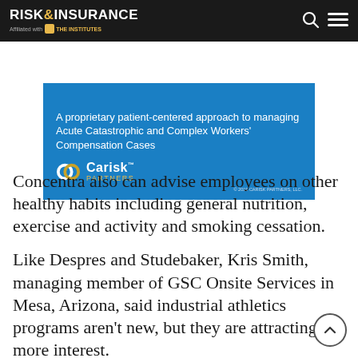RISK & INSURANCE — Affiliated with THE INSTITUTES
[Figure (advertisement): Carisk Partners advertisement on blue background. Text: 'A proprietary patient-centered approach to managing Acute Catastrophic and Complex Workers' Compensation Cases'. Carisk Partners logo with interconnected rings icon. Copyright: © 2019 CARISK PARTNERS, LLC.]
Concentra also can advise employees on other healthy habits including general nutrition, exercise and activity and smoking cessation.
Like Despres and Studebaker, Kris Smith, managing member of GSC Onsite Services in Mesa, Arizona, said industrial athletics programs aren't new, but they are attracting more interest.